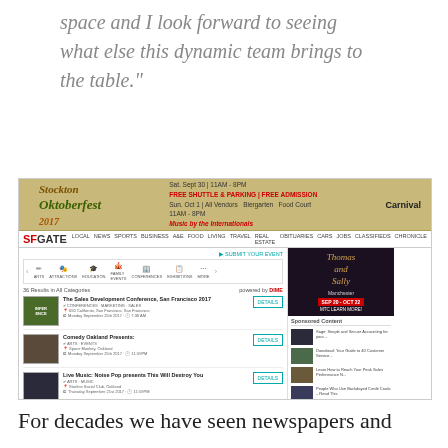space and I look forward to seeing what else this dynamic team brings to the table."
[Figure (screenshot): Screenshot of SFGate website showing an Oktoberfest 2017 banner advertisement at the top, the SFGate navigation bar with sections like LOCAL, NEWS, SPORTS, BUSINESS, etc., and a local events listing page with events including 'The Sales Development Conference, San Francisco 2017', 'Comedy Oakland Presents:', 'Live Music: Noise Pop presents This Will Destroy You', and 'The Setup: Craft Beer and Comedy'. A sidebar shows a theater advertisement and sponsored content links.]
For decades we have seen newspapers and